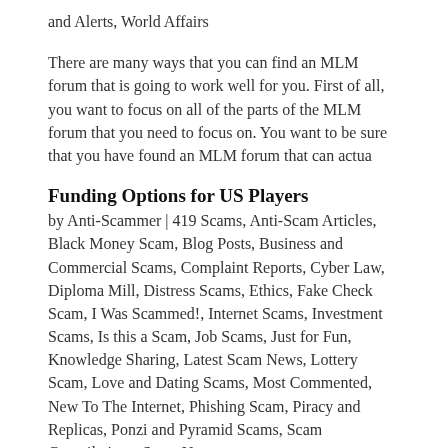and Alerts, World Affairs
There are many ways that you can find an MLM forum that is going to work well for you. First of all, you want to focus on all of the parts of the MLM forum that you need to focus on. You want to be sure that you have found an MLM forum that can actua
Funding Options for US Players
by Anti-Scammer | 419 Scams, Anti-Scam Articles, Black Money Scam, Blog Posts, Business and Commercial Scams, Complaint Reports, Cyber Law, Diploma Mill, Distress Scams, Ethics, Fake Check Scam, I Was Scammed!, Internet Scams, Investment Scams, Is this a Scam, Job Scams, Just for Fun, Knowledge Sharing, Latest Scam News, Lottery Scam, Love and Dating Scams, Most Commented, New To The Internet, Phishing Scam, Piracy and Replicas, Ponzi and Pyramid Scams, Scam Compilations, Scam News